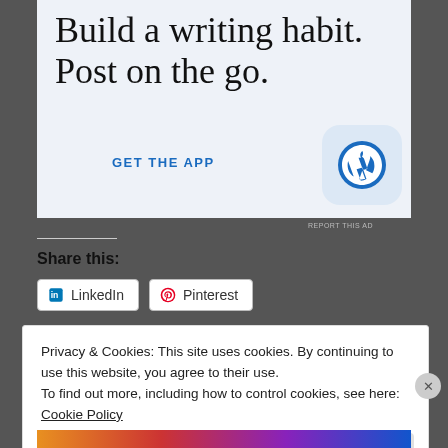[Figure (screenshot): WordPress app advertisement with light blue background showing 'Build a writing habit. Post on the go.' text, GET THE APP link, and WordPress logo icon]
REPORT THIS AD
Share this:
LinkedIn
Pinterest
Privacy & Cookies: This site uses cookies. By continuing to use this website, you agree to their use.
To find out more, including how to control cookies, see here: Cookie Policy
Close and accept